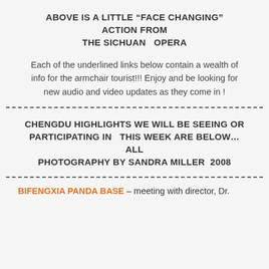ABOVE IS A LITTLE “FACE CHANGING” ACTION FROM THE SICHUAN  OPERA
Each of the underlined links below contain a wealth of info for the armchair tourist!!! Enjoy and be looking for new audio and video updates as they come in !
CHENGDU HIGHLIGHTS WE WILL BE SEEING OR PARTICIPATING IN  THIS WEEK ARE BELOW…ALL PHOTOGRAPHY BY SANDRA MILLER  2008
BIFENGXIA PANDA BASE – meeting with director, Dr.